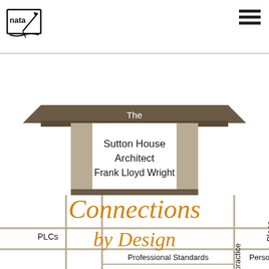[Figure (logo): NATA organization logo in black and white, upper left corner]
[Figure (illustration): Hamburger menu icon (three horizontal lines) in upper right corner]
[Figure (infographic): Stylized house illustration with roof in dark brown/taupe, columns in beige/khaki, white interior panel containing text 'The Sutton House Architect Frank Lloyd Wright'. Below the house is large orange italic text 'Connections by Design' overlaid on a beige grid/street map pattern with labels PLCs, Place, Professional Standards, Personal, Practice.]